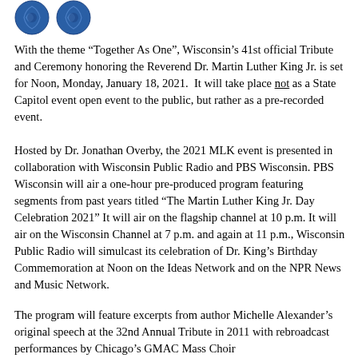[Figure (logo): Two blue circular logos/seals side by side at the top of the page]
With the theme “Together As One”, Wisconsin’s 41st official Tribute and Ceremony honoring the Reverend Dr. Martin Luther King Jr. is set for Noon, Monday, January 18, 2021.  It will take place not as a State Capitol event open event to the public, but rather as a pre-recorded event.
Hosted by Dr. Jonathan Overby, the 2021 MLK event is presented in collaboration with Wisconsin Public Radio and PBS Wisconsin. PBS Wisconsin will air a one-hour pre-produced program featuring segments from past years titled “The Martin Luther King Jr. Day Celebration 2021” It will air on the flagship channel at 10 p.m. It will air on the Wisconsin Channel at 7 p.m. and again at 11 p.m., Wisconsin Public Radio will simulcast its celebration of Dr. King’s Birthday Commemoration at Noon on the Ideas Network and on the NPR News and Music Network.
The program will feature excerpts from author Michelle Alexander’s original speech at the 32nd Annual Tribute in 2011 with rebroadcast performances by Chicago’s GMAC Mass Choir